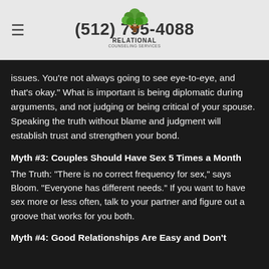(512) 795-4088
[Figure (logo): Relational Counseling Services logo with a green tree and human figures, text reads RELATIONAL COUNSELING SERVICES]
The Truth: A lot of us fall for this misconception, and it's no wonder why. Movies, music, and society perpetuate the myth that for happy couples, life is always roses and sunshine. The truth is all couples have differences, and fighting doesn't mean that you're with the wrong person, says Bloom. In fact, it's healthy to debate issues. You're not always going to see eye-to-eye, and that's okay. What is important is being diplomatic during arguments, and not judging or being critical of your spouse. Speaking the truth without blame and judgment will establish trust and strengthen your bond.
Myth #3: Couples Should Have Sex 5 Times a Month
The Truth: "There is no correct frequency for sex," says Bloom. "Everyone has different needs." If you want to have sex more or less often, talk to your partner and figure out a groove that works for you both.
Myth #4: Good Relationships Are Easy and Don't